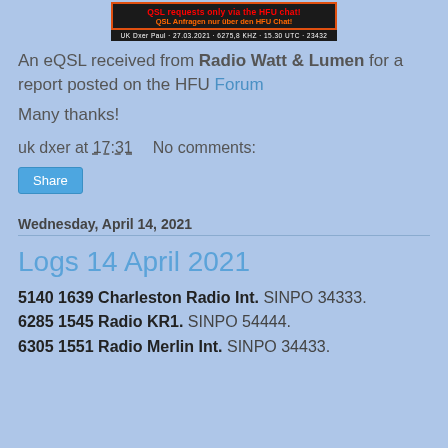[Figure (photo): QSL card banner with text: 'QSL requests only via the HFU chat!' in red, 'QSL Anfragen nur über den HFU Chat!' in orange, and caption 'UK Dxer Paul · 27.03.2021 · 6275,8 KHZ · 15.30 UTC · 23432' on black background.]
An eQSL received from Radio Watt & Lumen for a report posted on the HFU Forum
Many thanks!
uk dxer at 17:31    No comments:
Share
Wednesday, April 14, 2021
Logs 14 April 2021
5140 1639 Charleston Radio Int. SINPO 34333.
6285 1545 Radio KR1. SINPO 54444.
6305 1551 Radio Merlin Int. SINPO 34433.